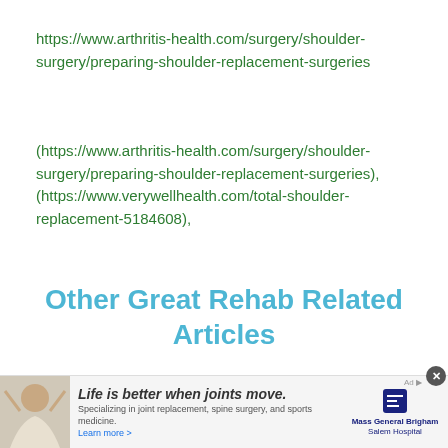https://www.arthritis-health.com/surgery/shoulder-surgery/preparing-shoulder-replacement-surgeries
(https://www.arthritis-health.com/surgery/shoulder-surgery/preparing-shoulder-replacement-surgeries), (https://www.verywellhealth.com/total-shoulder-replacement-5184608),
Other Great Rehab Related Articles
[Figure (photo): Hip Replacement What to - article preview image with text overlay and person photo]
[Figure (photo): Advertisement banner: Life is better when joints move. Mass General Brigham Salem Hospital. Person raising arms.]